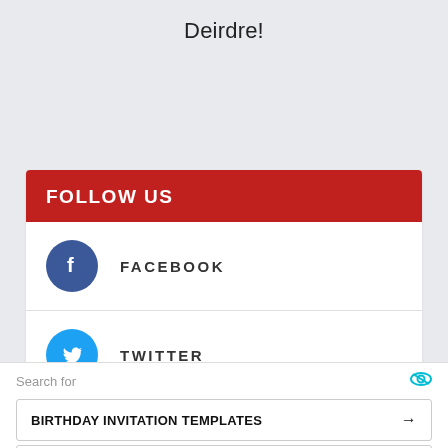Deirdre!
FOLLOW US
FACEBOOK
TWITTER
Search for
BIRTHDAY INVITATION TEMPLATES →
FREE BIRTHDAY TEMPLATES →